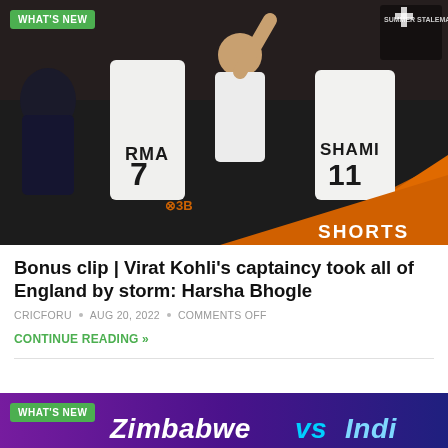[Figure (photo): Cricket players celebrating in white test jerseys with RMA 7 and SHAMI 11 on their backs, Virat Kohli celebrating with fist raised, commentator Harsha Bhogle visible on the left side, orange diagonal graphic at bottom right with SHORTS label, SUMMER STALEMATE logo at top right, WHAT'S NEW green badge at top left]
Bonus clip | Virat Kohli's captaincy took all of England by storm: Harsha Bhogle
CRICFORU • AUG 20, 2022 • COMMENTS OFF
CONTINUE READING »
[Figure (photo): Partially visible banner with purple/violet background, WHAT'S NEW green badge at top left, and large italic white text reading Zimbabwe vs India partially visible at bottom]